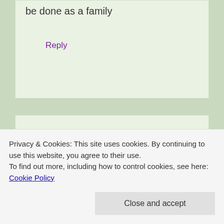be done as a family
Reply
Ellen Stafford says
April 27, 2015 at 10:23 pm
We write a list of things to look out for on the journey and tick them off
Privacy & Cookies: This site uses cookies. By continuing to use this website, you agree to their use. To find out more, including how to control cookies, see here: Cookie Policy
Close and accept